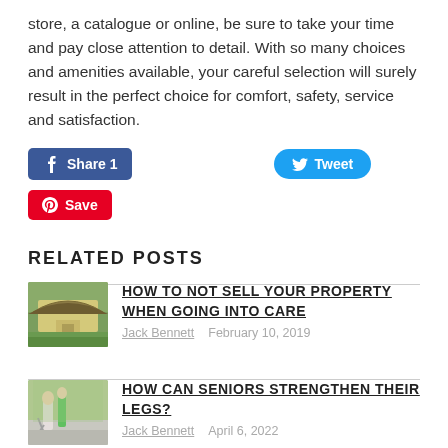store, a catalogue or online, be sure to take your time and pay close attention to detail. With so many choices and amenities available, your careful selection will surely result in the perfect choice for comfort, safety, service and satisfaction.
[Figure (other): Social sharing buttons: Facebook Share 1, Tweet, Pinterest Save]
RELATED POSTS
[Figure (photo): Thumbnail of a thatched cottage with green surroundings]
HOW TO NOT SELL YOUR PROPERTY WHEN GOING INTO CARE
Jack Bennett  February 10, 2019
[Figure (photo): Thumbnail of two seniors walking on a path]
HOW CAN SENIORS STRENGTHEN THEIR LEGS?
Jack Bennett  April 6, 2022